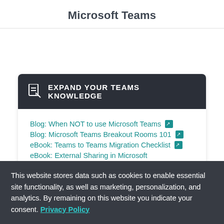Microsoft Teams
EXPAND YOUR TEAMS KNOWLEDGE
Blog: When NOT to use Microsoft Teams ↗
Blog: Microsoft Teams Breakout Rooms 101 ↗
eBook: Teams to Teams Migration Checklist ↗
eBook: External Sharing in Microsoft
This website stores data such as cookies to enable essential site functionality, as well as marketing, personalization, and analytics. By remaining on this website you indicate your consent. Privacy Policy